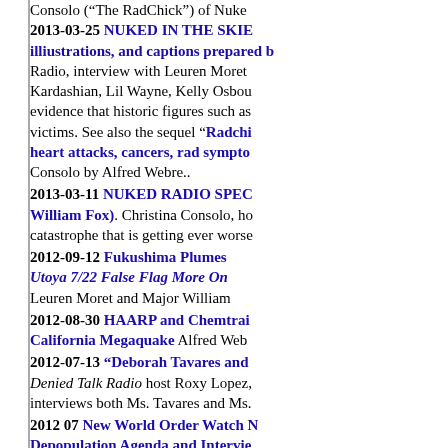Consolo ("The RadChick") of Nuke...
2013-03-25 NUKED IN THE SKIES... illiustrations, and captions prepared b... Radio, interview with Leuren Moret... Kardashian, Lil Wayne, Kelly Osbou... evidence that historic figures such as... victims. See also the sequel "Radchi... heart attacks, cancers, rad sympto... Consolo by Alfred Webre..
2013-03-11 NUKED RADIO SPEC... William Fox). Christina Consolo, ho... catastrophe that is getting ever worse...
2012-09-12 Fukushima Plumes... Utoya 7/22 False Flag More On... Leuren Moret and Major William...
2012-08-30 HAARP and Chemtrai... California Megaquake Alfred Web...
2012-07-13 "Deborah Tavares and... Denied Talk Radio host Roxy Lopez,... interviews both Ms. Tavares and Ms....
2012 07 New World Order Watch N... Depopulation Agenda and Intervie...
2012-03-30 "Fukushima, Radiation... interviews Leuren Moret and Dr. Ma...
2012-02-03 "Fallujah, Fukushima,...